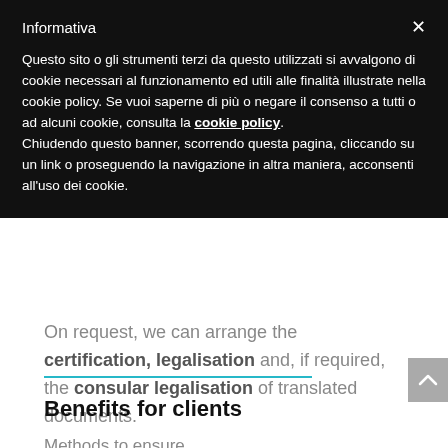Informativa
Questo sito o gli strumenti terzi da questo utilizzati si avvalgono di cookie necessari al funzionamento ed utili alle finalità illustrate nella cookie policy. Se vuoi saperne di più o negare il consenso a tutti o ad alcuni cookie, consulta la cookie policy. Chiudendo questo banner, scorrendo questa pagina, cliccando su un link o proseguendo la navigazione in altra maniera, acconsenti all'uso dei cookie.
On request, we can arrange the certification, legalisation and, if required, the consular legalisation of translated documents.
Benefits for clients
Methods to ensure...